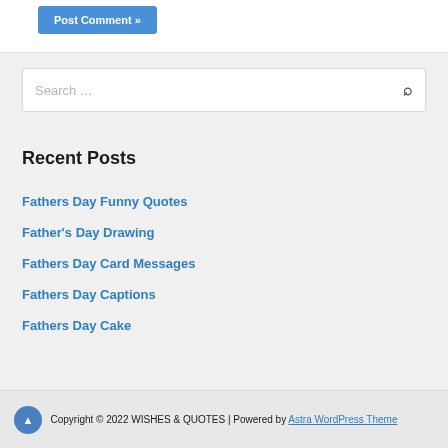Post Comment »
Search …
Recent Posts
Fathers Day Funny Quotes
Father's Day Drawing
Fathers Day Card Messages
Fathers Day Captions
Fathers Day Cake
Copyright © 2022 WISHES & QUOTES | Powered by Astra WordPress Theme